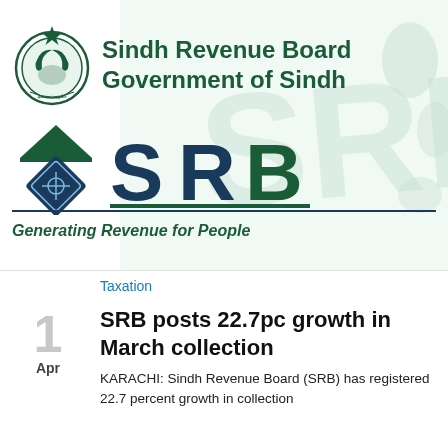[Figure (logo): Sindh Revenue Board (SRB) logo banner with Government of Sindh emblem on left, SRB text logo with diamond icon in center, tagline 'Generating Revenue for People' below, on white and light teal background with watermark pattern]
Taxation
SRB posts 22.7pc growth in March collection
KARACHI: Sindh Revenue Board (SRB) has registered 22.7 percent growth in collection